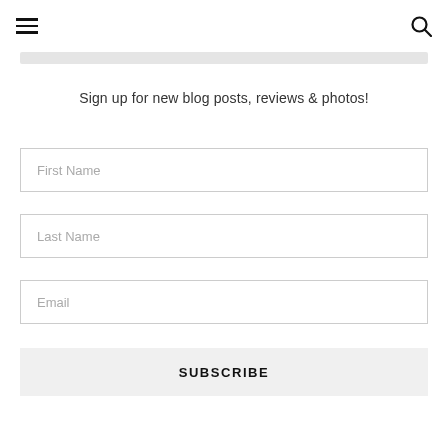☰ [search icon]
Sign up for new blog posts, reviews & photos!
First Name
Last Name
Email
SUBSCRIBE